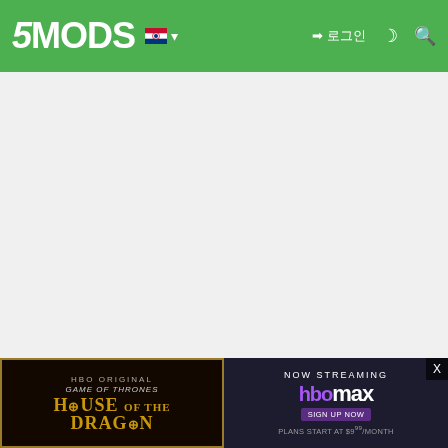5MODS — navigation header with logo, Korean flag, sign-in, dark mode toggle, search
74,887 다운로드 | 767 좋아요
4.84 / 5 (52명이 평가함)
This is the most complete mod I've released, combining my following coloring mods:
• Colo...
• Colo...
[Figure (screenshot): HBO Max advertisement banner for House of the Dragon with gold border on left side and purple HBO Max logo on right side]